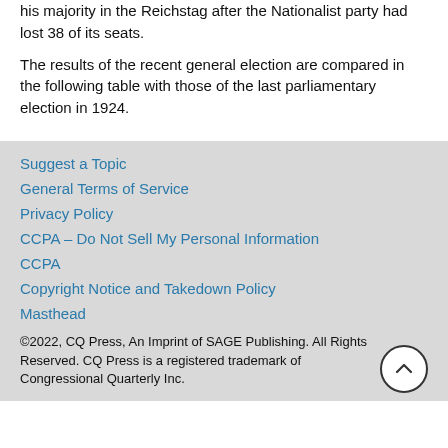his majority in the Reichstag after the Nationalist party had lost 38 of its seats.
The results of the recent general election are compared in the following table with those of the last parliamentary election in 1924.
Suggest a Topic
General Terms of Service
Privacy Policy
CCPA – Do Not Sell My Personal Information
CCPA
Copyright Notice and Takedown Policy
Masthead
©2022, CQ Press, An Imprint of SAGE Publishing. All Rights Reserved. CQ Press is a registered trademark of Congressional Quarterly Inc.